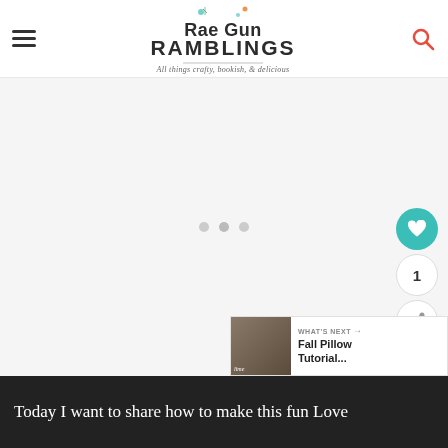Rae Gun Ramblings — All things crafty, bookish, & delicious
[Figure (screenshot): Blank/loading content area with three gray dots indicating a loading carousel or slideshow. Teal heart button, count '1', and share button on right sidebar. 'What's Next' promo panel in bottom-right corner showing 'Fall Pillow Tutorial...']
Today I want to share how to make this fun Love